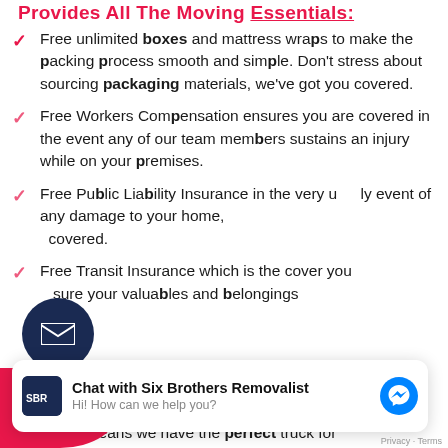Provides All The Moving Essentials:
Free unlimited boxes and mattress wraps to make the packing process smooth and simple. Don't stress about sourcing packaging materials, we've got you covered.
Free Workers Compensation ensures you are covered in the event any of our team members sustains an injury while on your premises.
Free Public Liability Insurance in the very unlikely event of any damage to your home, you're covered.
Free Transit Insurance which is the cover you need to insure your valuables and belongings
[Figure (screenshot): Chat widget showing Six Brothers Removalist chat interface with logo, title, subtitle 'Hi! How can we help you?' and messenger icon]
trucks means we have the perfect truck for